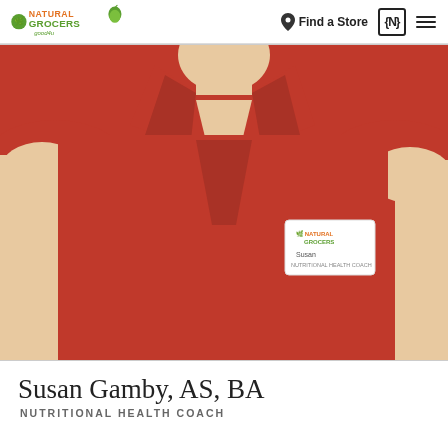Natural Grocers good4u | Find a Store
[Figure (photo): A person wearing a red sleeveless collared shirt with a Natural Grocers name badge that reads 'Susan' and 'Nutritional Health Coach'. The photo is cropped from the neck/shoulders down to the waist.]
Susan Gamby, AS, BA
NUTRITIONAL HEALTH COACH